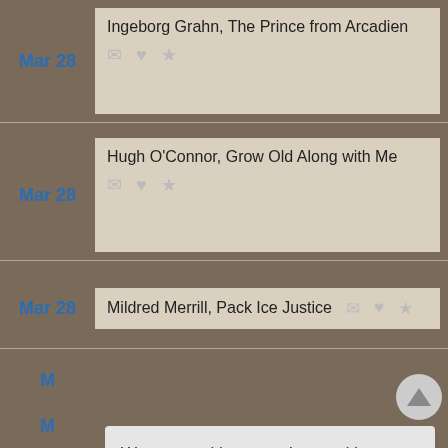Mar 28 — Ingeborg Grahn, The Prince from Arcadien
Mar 28 — Hugh O'Connor, Grow Old Along with Me
Mar 28 — Mildred Merrill, Pack Ice Justice
We use cookies to understand how you use our site and to improve your experience. This includes personalizing content for you and for the display and tracking of advertising. By continuing to use our site, you accept and agree to our use of cookies.  Privacy Policy
Got it!